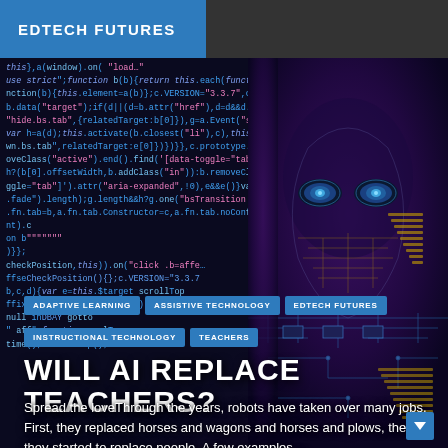EDTECH FUTURES
[Figure (photo): Background of programming/JavaScript code in blue/cyan colors on dark background, with an AI robot face (half-human, half-circuit board) on the right side]
ADAPTIVE LEARNING
ASSISTIVE TECHNOLOGY
EDTECH FUTURES
INSTRUCTIONAL TECHNOLOGY
TEACHERS
WILL AI REPLACE TEACHERS?
Spread the loveThrough the years, robots have taken over many jobs. First, they replaced horses and wagons and horses and plows, then they started to replace people. A few examples ...